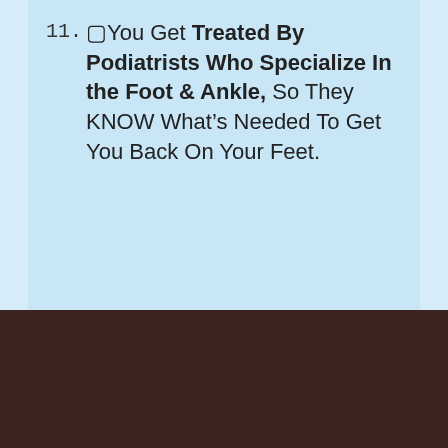11. ☐You Get Treated By Podiatrists Who Specialize In the Foot & Ankle, So They KNOW What's Needed To Get You Back On Your Feet.
[Figure (screenshot): Google Rating card for Prime Foot & Ankle Specialists - Podiatrists & Foot Doctors with star rating shown at the bottom]